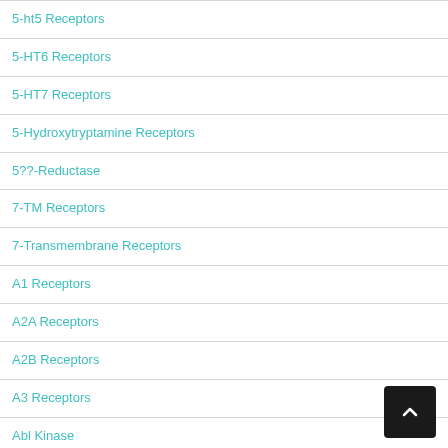5-ht5 Receptors
5-HT6 Receptors
5-HT7 Receptors
5-Hydroxytryptamine Receptors
5??-Reductase
7-TM Receptors
7-Transmembrane Receptors
A1 Receptors
A2A Receptors
A2B Receptors
A3 Receptors
Abl Kinase
ACAT